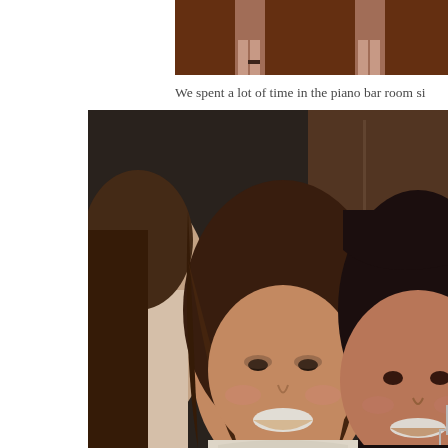[Figure (photo): Partial view of a photo at the top of the page showing legs/feet of a person on a dark reddish-brown floor]
We spent a lot of time in the piano bar room si
[Figure (photo): Close-up photo of three women smiling together. Two women in center and right are clearly visible with brown hair; the third is partially visible on the left edge. The center woman has long wavy brown hair and is wearing a light-colored top. The right woman has dark straight hair with side bangs and is wearing dark clothing with dangling earrings.]